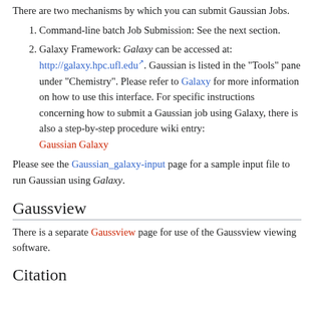There are two mechanisms by which you can submit Gaussian Jobs.
Command-line batch Job Submission: See the next section.
Galaxy Framework: Galaxy can be accessed at: http://galaxy.hpc.ufl.edu. Gaussian is listed in the "Tools" pane under "Chemistry". Please refer to Galaxy for more information on how to use this interface. For specific instructions concerning how to submit a Gaussian job using Galaxy, there is also a step-by-step procedure wiki entry: Gaussian Galaxy
Please see the Gaussian_galaxy-input page for a sample input file to run Gaussian using Galaxy.
Gaussview
There is a separate Gaussview page for use of the Gaussview viewing software.
Citation